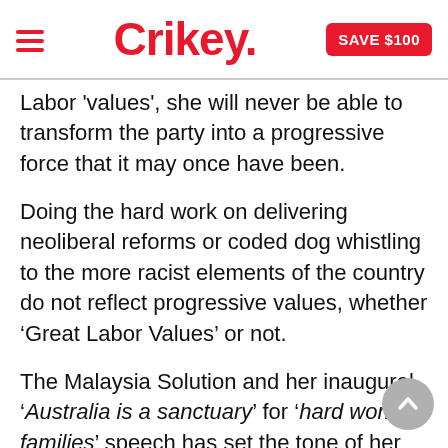Crikey. SAVE $100
Labor 'values', she will never be able to transform the party into a progressive force that it may once have been.
Doing the hard work on delivering neoliberal reforms or coded dog whistling to the more racist elements of the country do not reflect progressive values, whether ‘Great Labor Values’ or not.
The Malaysia Solution and her inaugural ‘Australia is a sanctuary’ for ‘hard working families’ speech has set the tone of her reign.
Whatever the individual faults of former Prime Minister Rudd may be, they are overshadowed by the